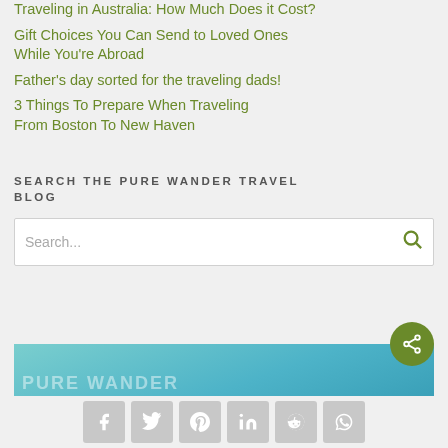Traveling in Australia: How Much Does it Cost?
Gift Choices You Can Send to Loved Ones While You're Abroad
Father's day sorted for the traveling dads!
3 Things To Prepare When Traveling From Boston To New Haven
SEARCH THE PURE WANDER TRAVEL BLOG
Search...
[Figure (photo): Teal/cyan water surface image with partial text overlay at the bottom of the page]
Social sharing buttons: Facebook, Twitter, Pinterest, LinkedIn, Reddit, WhatsApp